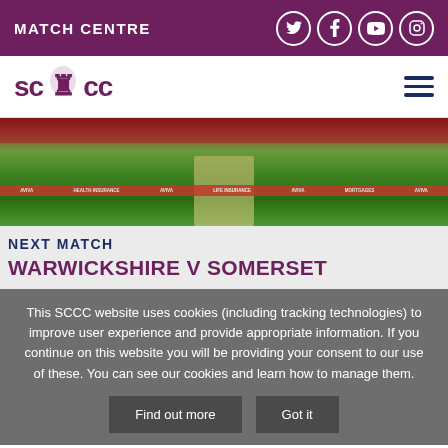MATCH CENTRE
[Figure (logo): SCCC Somerset County Cricket Club logo with lion emblem]
[Figure (photo): Cricket ground with green pitch, red boundary boards with sponsor text]
NEXT MATCH
WARWICKSHIRE V SOMERSET
This SCCC website uses cookies (including tracking technologies) to improve user experience and provide appropriate information. If you continue on this website you will be providing your consent to our use of these. You can see our cookies and learn how to manage them.
Find out more | Got it